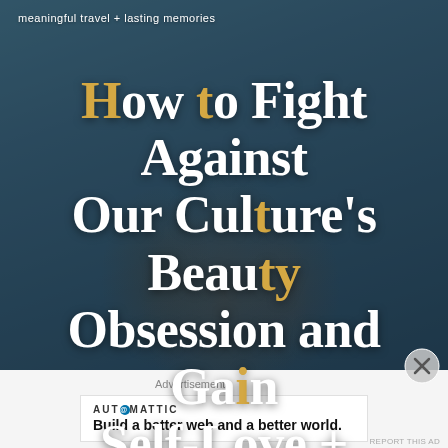meaningful travel + lasting memories
[Figure (photo): Background photo of three people looking at something together, overlaid with dark teal/blue color wash]
How to Fight Against Our Culture's Beauty Obsession and Gain Self-Love + Acceptance
Advertisements
[Figure (other): Automattic advertisement: Build a better web and a better world.]